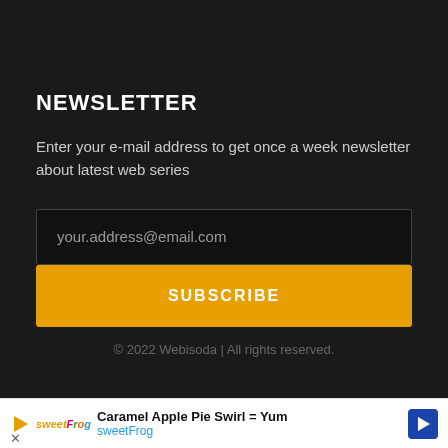NEWSLETTER
Enter your e-mail address to get once a week newsletter about latest web series
your.address@email.com
SUBSCRIBE
© 2022 Webisoda | All rights reserved.
[Figure (other): Advertisement banner for sweetFrog showing 'Caramel Apple Pie Swirl = Yum' with sweetFrog logo and navigation arrow icon]